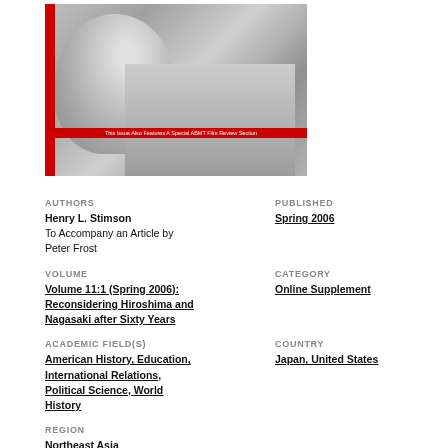[Figure (photo): Black and white photo with red left border bar and red banner text reading 'This Issue Also Features A Special ABMT Film Review Section']
AUTHORS
Henry L. Stimson
To Accompany an Article by Peter Frost
PUBLISHED
Spring 2006
VOLUME
Volume 11:1 (Spring 2006): Reconsidering Hiroshima and Nagasaki after Sixty Years
CATEGORY
Online Supplement
ACADEMIC FIELD(S)
American History, Education, International Relations, Political Science, World History
COUNTRY
Japan, United States
REGION
Northeast Asia